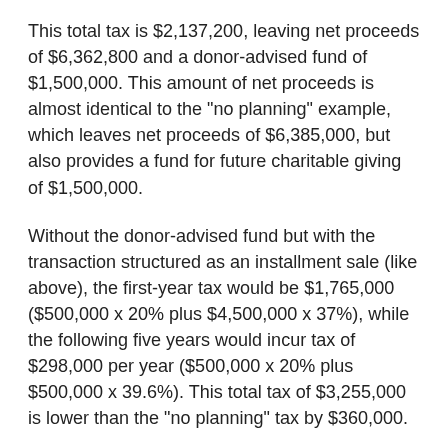This total tax is $2,137,200, leaving net proceeds of $6,362,800 and a donor-advised fund of $1,500,000. This amount of net proceeds is almost identical to the "no planning" example, which leaves net proceeds of $6,385,000, but also provides a fund for future charitable giving of $1,500,000.
Without the donor-advised fund but with the transaction structured as an installment sale (like above), the first-year tax would be $1,765,000 ($500,000 x 20% plus $4,500,000 x 37%), while the following five years would incur tax of $298,000 per year ($500,000 x 20% plus $500,000 x 39.6%). This total tax of $3,255,000 is lower than the "no planning" tax by $360,000.
Finally, if your client has charitable inclinations and also wants additional cash flow, a charitable remainder trust